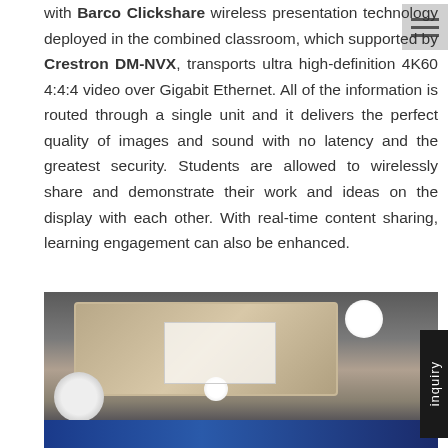with Barco Clickshare wireless presentation technology deployed in the combined classroom, which supported by Crestron DM-NVX, transports ultra high-definition 4K60 4:4:4 video over Gigabit Ethernet. All of the information is routed through a single unit and it delivers the perfect quality of images and sound with no latency and the greatest security. Students are allowed to wirelessly share and demonstrate their work and ideas on the display with each other. With real-time content sharing, learning engagement can also be enhanced.
[Figure (photo): Interior photo of a classroom ceiling showing wooden panel ceiling design with recessed lighting, a large white light panel embedded in the ceiling, round LED downlights, and a blue display screen visible at the bottom.]